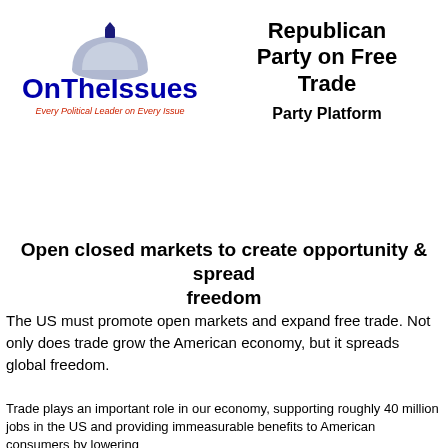[Figure (logo): OnTheIssues logo with dome graphic and tagline 'Every Political Leader on Every Issue']
Republican Party on Free Trade
Party Platform
Open closed markets to create opportunity & spread freedom
The US must promote open markets and expand free trade. Not only does trade grow the American economy, but it spreads global freedom.
Trade plays an important role in our economy, supporting roughly 40 million jobs in the US and providing immeasurable benefits to American consumers by lowering